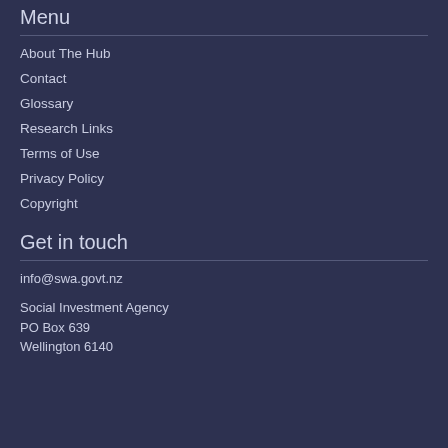Menu
About The Hub
Contact
Glossary
Research Links
Terms of Use
Privacy Policy
Copyright
Get in touch
info@swa.govt.nz
Social Investment Agency
PO Box 639
Wellington 6140